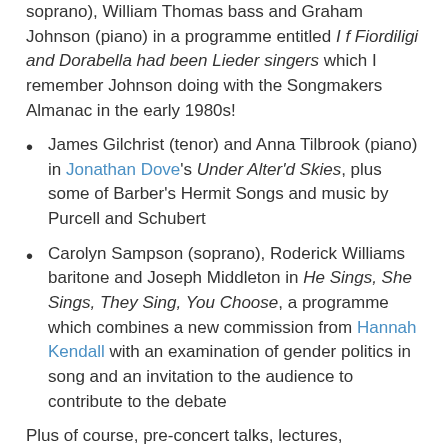soprano), William Thomas bass and Graham Johnson (piano) in a programme entitled If Fiordiligi and Dorabella had been Lieder singers which I remember Johnson doing with the Songmakers Almanac in the early 1980s!
James Gilchrist (tenor) and Anna Tilbrook (piano) in Jonathan Dove's Under Alter'd Skies, plus some of Barber's Hermit Songs and music by Purcell and Schubert
Carolyn Sampson (soprano), Roderick Williams baritone and Joseph Middleton in He Sings, She Sings, They Sing, You Choose, a programme which combines a new commission from Hannah Kendall with an examination of gender politics in song and an invitation to the audience to contribute to the debate
Plus of course, pre-concert talks, lectures, masterclasses and a concert from the young artists being coached during the weekend.